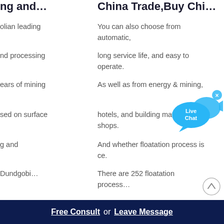ng and…
China Trade,Buy Chi…
olian leading
You can also choose from automatic,
nd processing
long service life, and easy to operate.
ears of mining
As well as from energy & mining,
sed on surface
hotels, and building material shops.
g and
And whether floatation process is ce.
Dundgobi…
There are 252 floatation process…
[Figure (illustration): Live Chat button with blue speech bubble and fish icon, with X close button]
[Figure (illustration): Scroll to top button - circle with upward arrow]
Free Consult  or  Leave Message